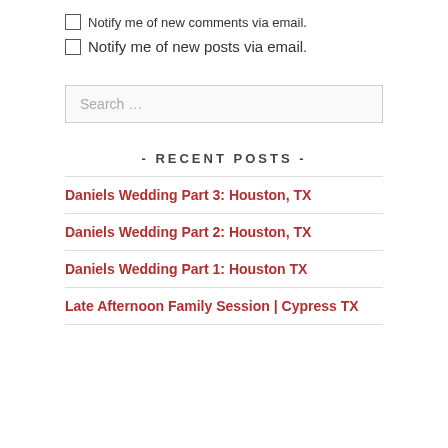Notify me of new comments via email.
Notify me of new posts via email.
Search …
- RECENT POSTS -
Daniels Wedding Part 3: Houston, TX
Daniels Wedding Part 2: Houston, TX
Daniels Wedding Part 1: Houston TX
Late Afternoon Family Session | Cypress TX